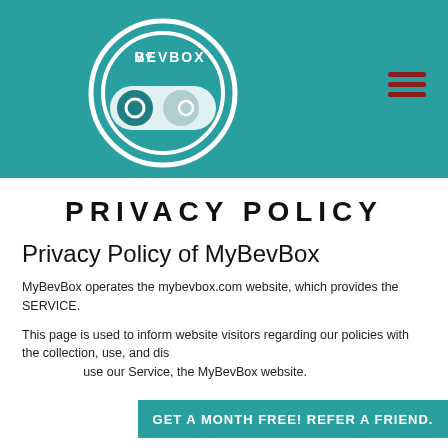[Figure (logo): MyBevBox logo: circular teal badge with toggle switch graphic and MYBEVBOX text above]
PRIVACY POLICY
Privacy Policy of MyBevBox
MyBevBox operates the mybevbox.com website, which provides the SERVICE.
This page is used to inform website visitors regarding our policies with the collection, use, and dis[closure of Personal Information if anyone decided to] use our Service, the MyBevBox website.
GET A MONTH FREE! REFER A FRIEND.